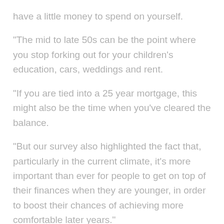have a little money to spend on yourself.
“The mid to late 50s can be the point where you stop forking out for your children’s education, cars, weddings and rent.
“If you are tied into a 25 year mortgage, this might also be the time when you’ve cleared the balance.
“But our survey also highlighted the fact that, particularly in the current climate, it’s more important than ever for people to get on top of their finances when they are younger, in order to boost their chances of achieving more comfortable later years.”
The study paints a financial timeline for most adults – starting full time work at 18, settled down with a partner by 24 and having children two years later.
They buy a house aged 27 and clear the mortgage by 53.